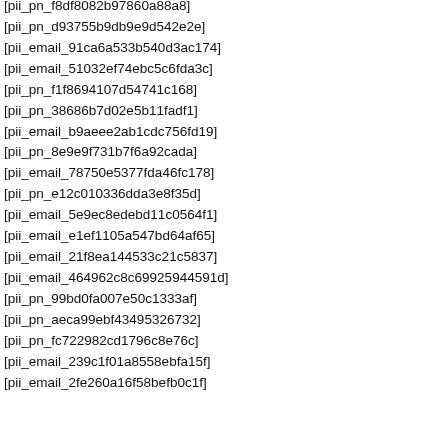[pii_pn_f8df8082b97860a88a8]
[pii_pn_d93755b9db9e9d542e2e]
[pii_email_91ca6a533b540d3ac174]
[pii_email_51032ef74ebc5c6fda3c]
[pii_pn_f1f8694107d54741c168]
[pii_pn_38686b7d02e5b11fadf1]
[pii_email_b9aeee2ab1cdc756fd19]
[pii_pn_8e9e9f731b7f6a92cada]
[pii_email_78750e5377fda46fc178]
[pii_pn_e12c010336dda3e8f35d]
[pii_email_5e9ec8edebd11c0564f1]
[pii_email_e1ef1105a547bd64af65]
[pii_email_21f8ea144533c21c5837]
[pii_email_464962c8c69925944591d]
[pii_pn_99bd0fa007e50c1333af]
[pii_pn_aeca99ebf43495326732]
[pii_pn_fc722982cd1796c8e76c]
[pii_email_239c1f01a8558ebfa15f]
[pii_email_2fe260a16f58befb0c1f]